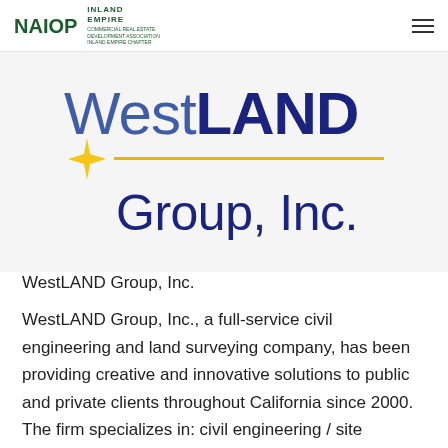NAIOP INLAND EMPIRE
[Figure (logo): WestLAND Group, Inc. company logo with blue text, yellow four-pointed star, and horizontal gold line]
WestLAND Group, Inc.
WestLAND Group, Inc., a full-service civil engineering and land surveying company, has been providing creative and innovative solutions to public and private clients throughout California since 2000. The firm specializes in: civil engineering / site development, utility engineering, surveying and mapping, and GIS. WestLAND Group is known as an industry leader and a pioneer in the adoption of state-of-the-art technologies